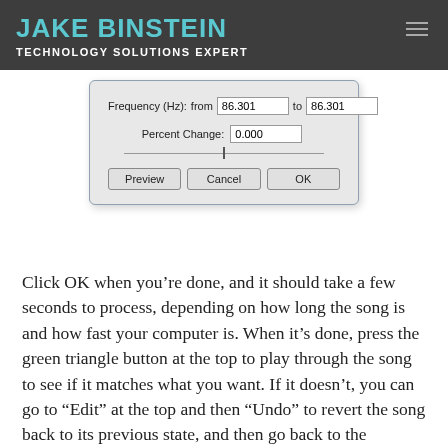JAKE BINSTEIN
TECHNOLOGY SOLUTIONS EXPERT
[Figure (screenshot): A dialog box showing Frequency (Hz): from 86.301 to 86.301, Percent Change: 0.000, a slider, and buttons Preview, Cancel, OK]
Click OK when you’re done, and it should take a few seconds to process, depending on how long the song is and how fast your computer is. When it’s done, press the green triangle button at the top to play through the song to see if it matches what you want. If it doesn’t, you can go to “Edit” at the top and then “Undo” to revert the song back to its previous state, and then go back to the “Change Pitch” effect and change it again.